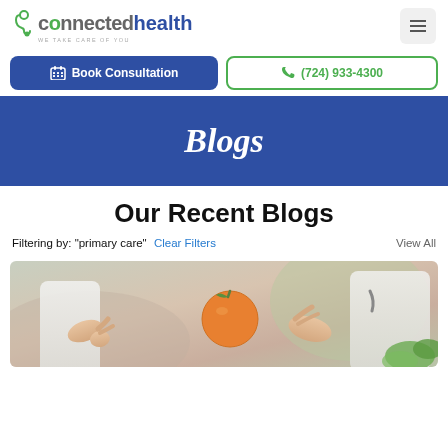[Figure (logo): Connected Health logo with stethoscope icon and tagline 'WE TAKE CARE OF YOU']
Book Consultation
(724) 933-4300
Blogs
Our Recent Blogs
Filtering by: "primary care"  Clear Filters   View All
[Figure (photo): Doctor and patient hands with an orange, medical consultation scene]